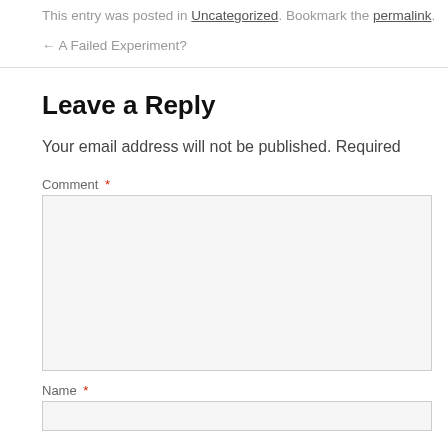This entry was posted in Uncategorized. Bookmark the permalink.
← A Failed Experiment?
Leave a Reply
Your email address will not be published. Required
Comment *
Name *